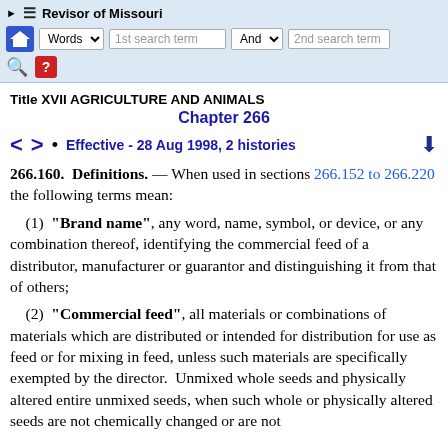Revisor of Missouri — navigation bar with search
Title XVII AGRICULTURE AND ANIMALS
Chapter 266
< >  •   Effective - 28 Aug 1998, 2 histories  ↓
266.160.  Definitions. — When used in sections 266.152 to 266.220 the following terms mean:
(1)  "Brand name", any word, name, symbol, or device, or any combination thereof, identifying the commercial feed of a distributor, manufacturer or guarantor and distinguishing it from that of others;
(2)  "Commercial feed", all materials or combinations of materials which are distributed or intended for distribution for use as feed or for mixing in feed, unless such materials are specifically exempted by the director.  Unmixed whole seeds and physically altered entire unmixed seeds, when such whole or physically altered seeds are not chemically changed or are not